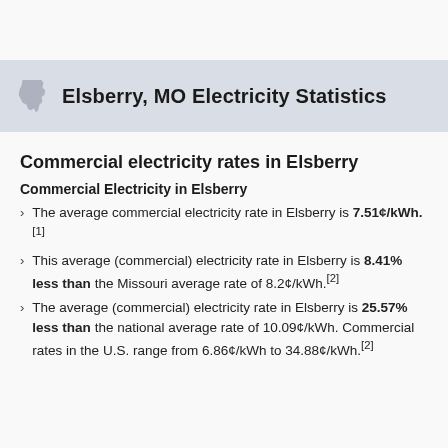Elsberry, MO Electricity Statistics
Commercial electricity rates in Elsberry
Commercial Electricity in Elsberry
The average commercial electricity rate in Elsberry is 7.51¢/kWh.[1]
This average (commercial) electricity rate in Elsberry is 8.41% less than the Missouri average rate of 8.2¢/kWh.[2]
The average (commercial) electricity rate in Elsberry is 25.57% less than the national average rate of 10.09¢/kWh. Commercial rates in the U.S. range from 6.86¢/kWh to 34.88¢/kWh.[2]